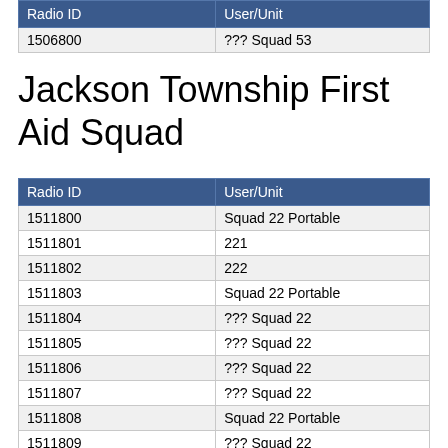| Radio ID | User/Unit |
| --- | --- |
| 1506800 | ??? Squad 53 |
Jackson Township First Aid Squad
| Radio ID | User/Unit |
| --- | --- |
| 1511800 | Squad 22 Portable |
| 1511801 | 221 |
| 1511802 | 222 |
| 1511803 | Squad 22 Portable |
| 1511804 | ??? Squad 22 |
| 1511805 | ??? Squad 22 |
| 1511806 | ??? Squad 22 |
| 1511807 | ??? Squad 22 |
| 1511808 | Squad 22 Portable |
| 1511809 | ??? Squad 22 |
| 1511810 | Squad 22 Portable |
| 1511811 | Squad 22 Portable |
| 1511812 | Squad 22 Portable |
| 1511813 | ??? Squad 22 |
| 1511814 | Squad 22 Portable |
| 1511815 | Squad 22 Portable |